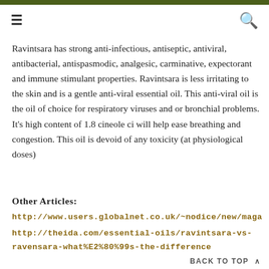≡  🔍
Ravintsara has strong anti-infectious, antiseptic, antiviral, antibacterial, antispasmodic, analgesic, carminative, expectorant and immune stimulant properties. Ravintsara is less irritating to the skin and is a gentle anti-viral essential oil. This anti-viral oil is the oil of choice for respiratory viruses and or bronchial problems. It's high content of 1.8 cineole ci will help ease breathing and congestion. This oil is devoid of any toxicity (at physiological doses)
Other Articles:
http://www.users.globalnet.co.uk/~nodice/new/maga
http://theida.com/essential-oils/ravintsara-vs-ravensara-what%E2%80%99s-the-difference
BACK TO TOP ∧